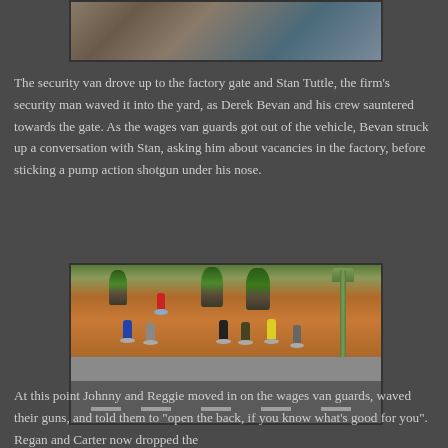[Figure (photo): Top portion of a miniature wargaming scene showing a factory gate area with building structures, viewed from above.]
The security van drove up to the factory gate and Stan Tuttle, the firm's security man waved it into the yard, as Derek Bevan and his crew sauntered towards the gate. As the wages van guards got out of the vehicle, Bevan struck up a conversation with Stan, asking him about vacancies in the factory, before sticking a pump action shotgun under his nose.
[Figure (photo): A miniature wargaming scene showing painted figurines of people on a street with trees, a lamppost, and a road with dashed lines. Several figures stand on a sidewalk near trees.]
At this point Johnny and Reggie moved in on the wages van guards, waved their guns, and told them to "open the back, if you know what's good for you". Regan and Carter now dropped the